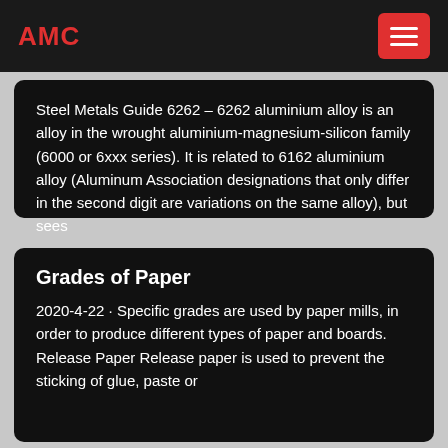AMC
Steel Metals Guide 6262 – 6262 aluminium alloy is an alloy in the wrought aluminium-magnesium-silicon family (6000 or 6xxx series). It is related to 6162 aluminium alloy (Aluminum Association designations that only differ in the second digit are variations on the same alloy), but sees
Grades of Paper
2020-4-22 · Specific grades are used by paper mills, in order to produce different types of paper and boards. Release Paper Release paper is used to prevent the sticking of glue, paste or